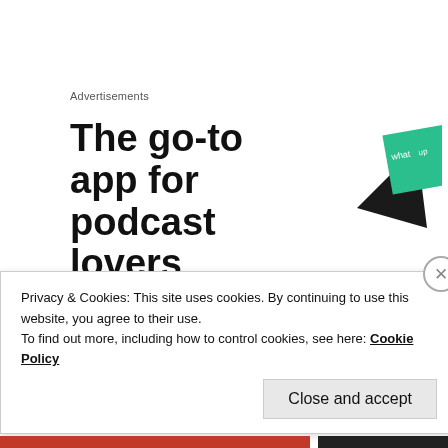Advertisements
[Figure (infographic): Advertisement banner: 'The go-to app for podcast lovers' with a black arrow shape and green card graphic on the right]
HARSH
Jun 17, 2020 at 11:19 pm
Privacy & Cookies: This site uses cookies. By continuing to use this website, you agree to their use.
To find out more, including how to control cookies, see here: Cookie Policy
Close and accept